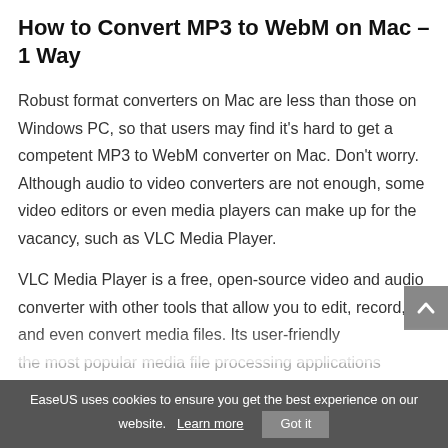How to Convert MP3 to WebM on Mac – 1 Way
Robust format converters on Mac are less than those on Windows PC, so that users may find it's hard to get a competent MP3 to WebM converter on Mac. Don't worry. Although audio to video converters are not enough, some video editors or even media players can make up for the vacancy, such as VLC Media Player.
VLC Media Player is a free, open-source video and audio converter with other tools that allow you to edit, record, and even convert media files. Its user-friendly the most popular media file processing applications
EaseUS uses cookies to ensure you get the best experience on our website.    Learn more    Got it